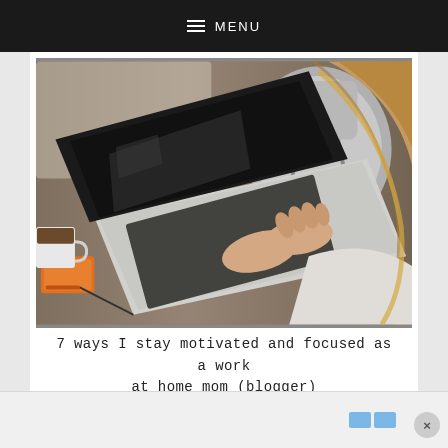MENU
[Figure (photo): Overhead view of a woman with long wavy hair typing on a silver laptop at a wooden desk. An orange LaCie external hard drive, a white mug, and a grey backpack are visible on the desk.]
7 ways I stay motivated and focused as a work at home mom (blogger)
[Figure (other): Advertisement banner with two blue squares icon in the bottom-right corner, with a close (×) button.]